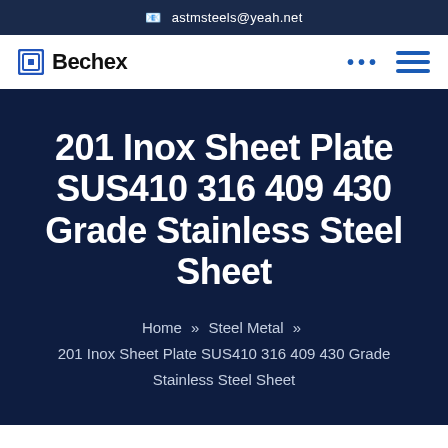astmsteels@yeah.net
Bechex
201 Inox Sheet Plate SUS410 316 409 430 Grade Stainless Steel Sheet
Home » Steel Metal » 201 Inox Sheet Plate SUS410 316 409 430 Grade Stainless Steel Sheet